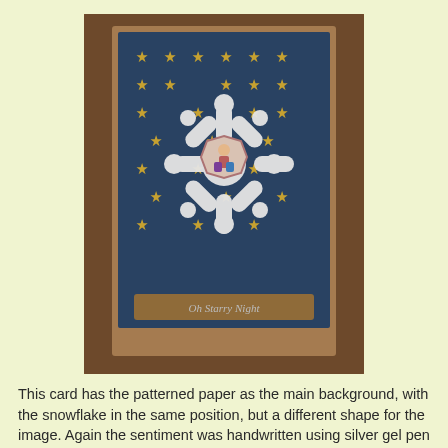[Figure (photo): A handmade greeting card with a dark blue patterned paper background covered in yellow stars and small dots, featuring a large white snowflake die-cut shape in the center with a small octagonal image of a child with Christmas gifts, and a Kraft card strip at the bottom with handwritten silver text reading 'Oh Starry Night'. The card is photographed on a wooden table surface.]
This card has the patterned paper as the main background, with the snowflake in the same position, but a different shape for the image. Again the sentiment was handwritten using silver gel pen on Kraft card.
These first two cards from the collection are to be entered